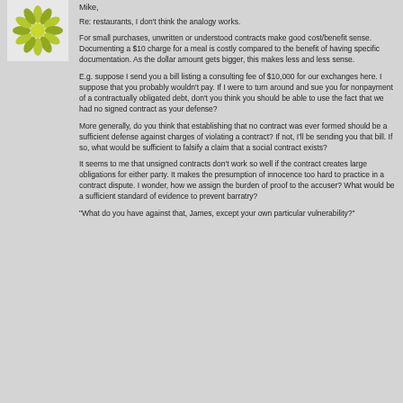[Figure (illustration): Green/yellow sunburst or starburst logo icon on white background]
Mike,
Re: restaurants, I don't think the analogy works.
For small purchases, unwritten or understood contracts make good cost/benefit sense. Documenting a $10 charge for a meal is costly compared to the benefit of having specific documentation. As the dollar amount gets bigger, this makes less and less sense.
E.g. suppose I send you a bill listing a consulting fee of $10,000 for our exchanges here. I suppose that you probably wouldn't pay. If I were to turn around and sue you for nonpayment of a contractually obligated debt, don't you think you should be able to use the fact that we had no signed contract as your defense?
More generally, do you think that establishing that no contract was ever formed should be a sufficient defense against charges of violating a contract? If not, I'll be sending you that bill. If so, what would be sufficient to falsify a claim that a social contract exists?
It seems to me that unsigned contracts don't work so well if the contract creates large obligations for either party. It makes the presumption of innocence too hard to practice in a contract dispute. I wonder, how we assign the burden of proof to the accuser? What would be a sufficient standard of evidence to prevent barratry?
"What do you have against that, James, except your own particular vulnerability?"